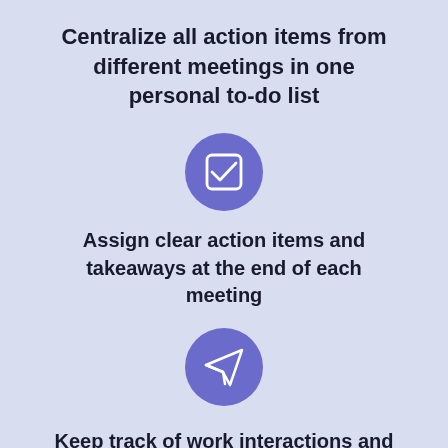Centralize all action items from different meetings in one personal to-do list
[Figure (illustration): Purple circle icon with a white checkbox/checkmark inside]
Assign clear action items and takeaways at the end of each meeting
[Figure (illustration): Purple circle icon with a white paper airplane/send icon inside]
Keep track of work interactions and